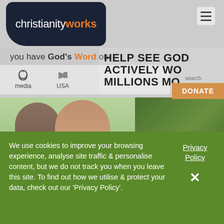[Figure (screenshot): Christianity Works website screenshot showing logo, navigation, tagline, CTA overlay, photos, and cookie consent banner]
christianityworks
you have God's Word on
HELP SEE GOD
ACTIVELY WO
DONATE
MILLIONS MO
media
USA
search
God's Word fresh FOR YOU TODAY
We use cookies to improve your browsing experience, analyse site traffic & personalise content, but we do not track you when you leave this site. To find out how we utilise & protect your data, check out our 'Privacy Policy'.
Privacy Policy
✕